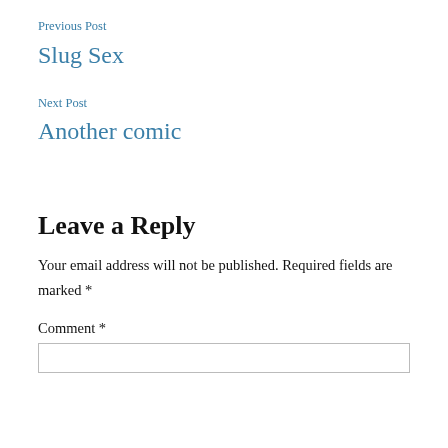Previous Post
Slug Sex
Next Post
Another comic
Leave a Reply
Your email address will not be published. Required fields are marked *
Comment *